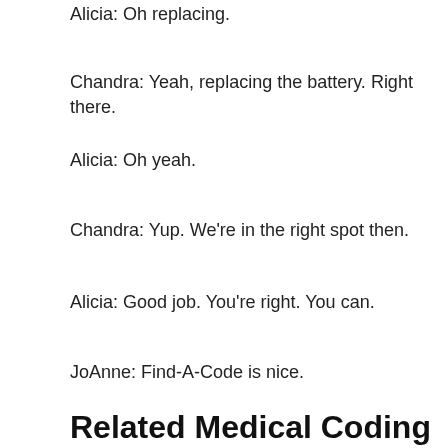Alicia: Oh replacing.
Chandra: Yeah, replacing the battery. Right there.
Alicia: Oh yeah.
Chandra: Yup. We're in the right spot then.
Alicia: Good job. You're right. You can.
JoAnne: Find-A-Code is nice.
Alicia: I love Find-A-Code.
JoAnne: Yeah.
Related Medical Coding for Battery Replacement Posts: